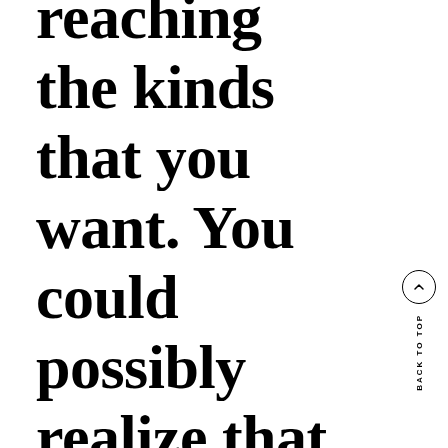reaching the kinds that you want. You could possibly realize that you may keep your human
BACK TO TOP